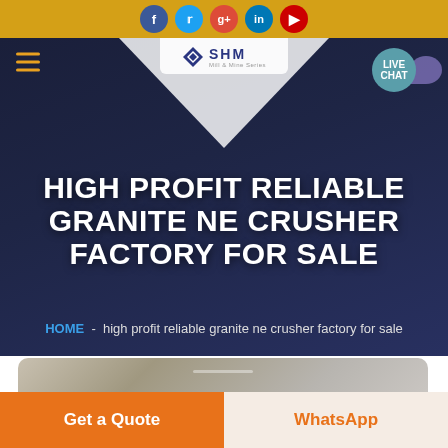Social media icons: Facebook, Twitter, Google+, LinkedIn, YouTube
[Figure (screenshot): Website navigation bar with hamburger menu, SHM logo centered, and Live Chat bubble on the right]
HIGH PROFIT RELIABLE GRANITE NE CRUSHER FACTORY FOR SALE
HOME - high profit reliable granite ne crusher factory for sale
[Figure (photo): Partial image of industrial/mining equipment visible at bottom of page]
Get a Quote
WhatsApp